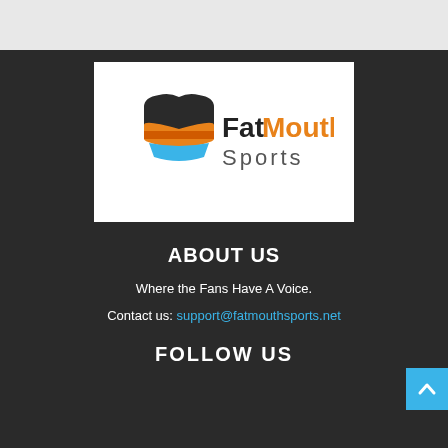[Figure (logo): FatMouth Sports logo — shield icon with orange/dark/blue layers and text 'FatMouth Sports']
ABOUT US
Where the Fans Have A Voice.
Contact us: support@fatmouthsports.net
FOLLOW US